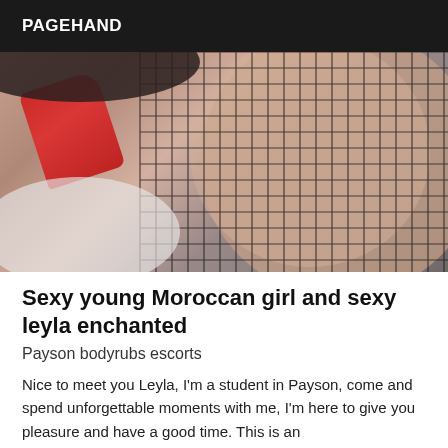PAGEHAND
[Figure (photo): Close-up photo of a person wearing red lingerie and black fishnet stockings]
Sexy young Moroccan girl and sexy leyla enchanted
Payson bodyrubs escorts
Nice to meet you Leyla, I'm a student in Payson, come and spend unforgettable moments with me, I'm here to give you pleasure and have a good time. This is an